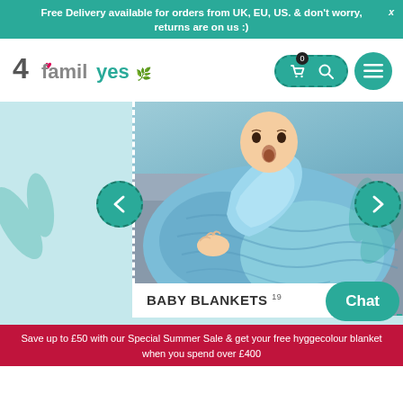Free Delivery available for orders from UK, EU, US. & don't worry, returns are on us :)
[Figure (logo): 4familyes brand logo with heart and leaf icon]
[Figure (screenshot): Baby wrapped in blue knit blanket - hero carousel image with previous/next navigation buttons and dashed border overlay]
BABY BLANKETS 19
Chat
Save up to £50 with our Special Summer Sale & get your free hyggecolour blanket when you spend over £400